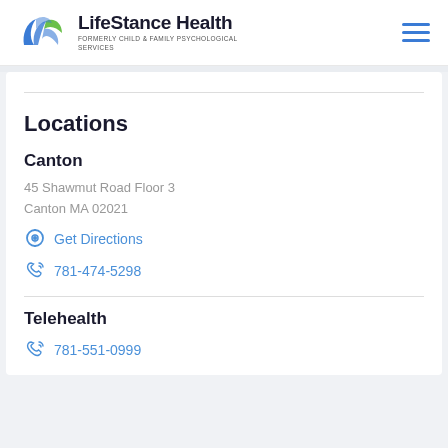[Figure (logo): LifeStance Health logo with stylized blue and green bird/leaf icon]
LifeStance Health
FORMERLY CHILD & FAMILY PSYCHOLOGICAL SERVICES
Locations
Canton
45 Shawmut Road Floor 3
Canton MA 02021
Get Directions
781-474-5298
Telehealth
781-551-0999